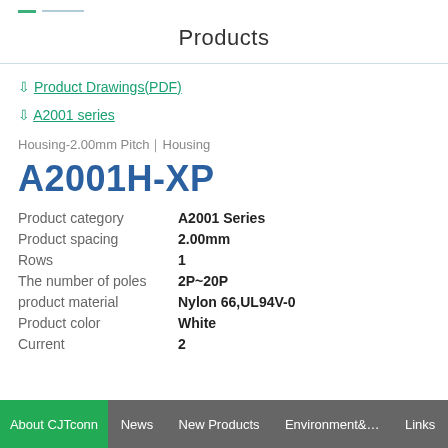Products
↓ Product Drawings(PDF)
↓ A2001 series
Housing-2.00mm Pitch｜Housing
A2001H-XP
| Property | Value |
| --- | --- |
| Product category | A2001 Series |
| Product spacing | 2.00mm |
| Rows | 1 |
| The number of poles | 2P~20P |
| product material | Nylon 66,UL94V-0 |
| Product color | White |
| Current | 2 |
About CJTconn   News   New Products   Environment&...   Links